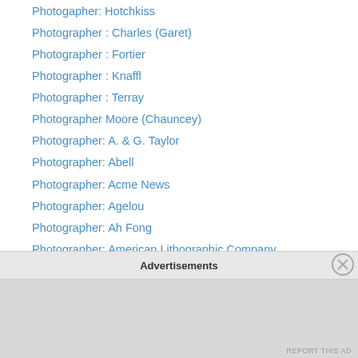Photogapher: Hotchkiss
Photographer : Charles (Garet)
Photographer : Fortier
Photographer : Knaffl
Photographer : Terray
Photographer Moore (Chauncey)
Photographer: A. & G. Taylor
Photographer: Abell
Photographer: Acme News
Photographer: Agelou
Photographer: Ah Fong
Photographer: American Lithographic Company
Photographer: Anderson (Illinois)
Photographer: Anderson (Indiana)
Photographer: Anderson (New York)
Photographer: Anderson (San Francisco)
Advertisements
REPORT THIS AD